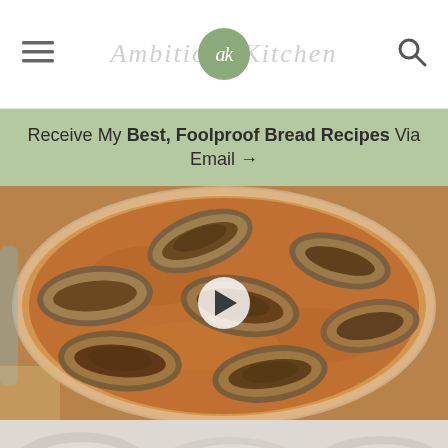ak [logo] — Ambitious Kitchen
Receive My Best, Foolproof Bread Recipes Via Email →
[Figure (photo): Overhead view of eggplant rollatini in a round baking dish with tomato sauce, with a video play button overlay]
[Figure (photo): Partial bottom strip showing another food dish]